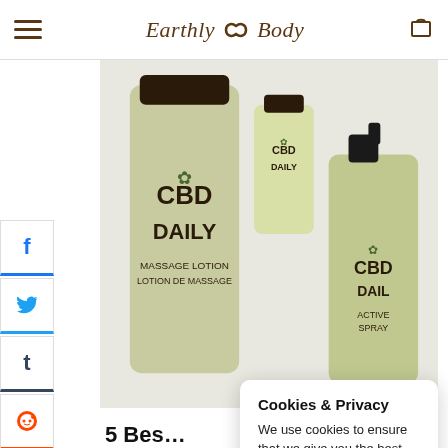Earthly Body
[Figure (photo): Three CBD Daily products (Massage Lotion, small bottle, and Active Spray) arranged on a white fluffy surface]
5 Bes... 2022
[Figure (photo): Partial bottom photo of a person]
Cookies & Privacy
We use cookies to ensure that we give you the best experience on our website. If you continue to use this site we will assume that you are happy with it.
Read More  Got it